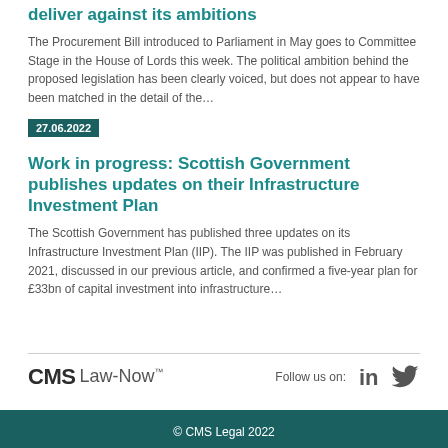deliver against its ambitions
The Procurement Bill introduced to Parliament in May goes to Committee Stage in the House of Lords this week. The political ambition behind the proposed legislation has been clearly voiced, but does not appear to have been matched in the detail of the…
27.06.2022
Work in progress: Scottish Government publishes updates on their Infrastructure Investment Plan
The Scottish Government has published three updates on its Infrastructure Investment Plan (IIP). The IIP was published in February 2021, discussed in our previous article, and confirmed a five-year plan for £33bn of capital investment into infrastructure…
© CMS Legal 2022